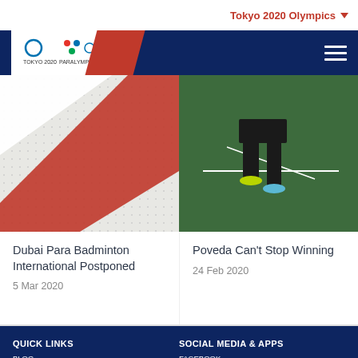Tokyo 2020 Olympics
[Figure (screenshot): Tokyo 2020 Olympics navigation bar with logo]
[Figure (photo): Dubai Para Badminton International article image showing red and white pattern]
[Figure (photo): Badminton player on green court - Poveda Can't Stop Winning]
Dubai Para Badminton International Postponed
5 Mar 2020
Poveda Can't Stop Winning
24 Feb 2020
QUICK LINKS
BLOG
NEWS
BADMINTON – THE OLYMPIC JOURNEY
WELCOME TO TOKYO
RESULTS
SCHEDULE
SOCIAL MEDIA & APPS
FACEBOOK
TWITTER
QQ
WEIBO
YOUKU
YOUTUBE